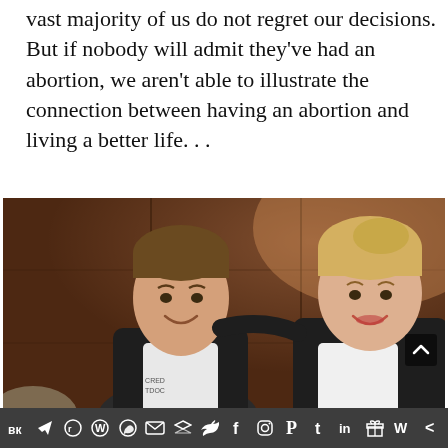vast majority of us do not regret our decisions. But if nobody will admit they've had an abortion, we aren't able to illustrate the connection between having an abortion and living a better life. . .
[Figure (photo): Two people smiling together indoors in front of wooden paneled wall. A young man on the left wearing a leather jacket over a graphic t-shirt, and a blonde woman on the right wearing a leather jacket.]
Share bar with social media icons: VK, Telegram, Reddit, WordPress, WhatsApp, Email, Buffer, Twitter, Facebook, Instagram, Pinterest, Tumblr, LinkedIn, Gift, Flipboard, Share